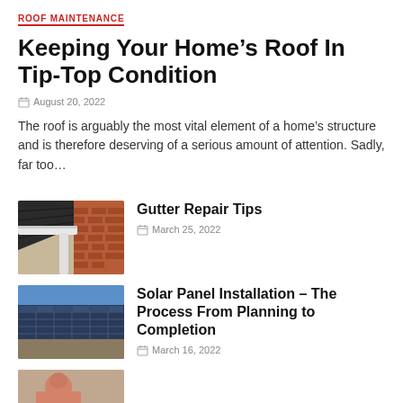ROOF MAINTENANCE
Keeping Your Home’s Roof In Tip-Top Condition
August 20, 2022
The roof is arguably the most vital element of a home’s structure and is therefore deserving of a serious amount of attention. Sadly, far too…
[Figure (photo): Close-up of a white gutter on a brick house corner with roof visible]
Gutter Repair Tips
March 25, 2022
[Figure (photo): Solar panels installed on a rooftop under blue sky]
Solar Panel Installation – The Process From Planning to Completion
March 16, 2022
[Figure (photo): Partial thumbnail of another article, partially visible at bottom]